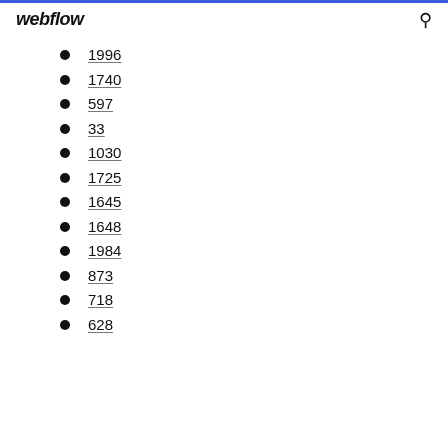webflow
1996
1740
597
33
1030
1725
1645
1648
1984
873
718
628